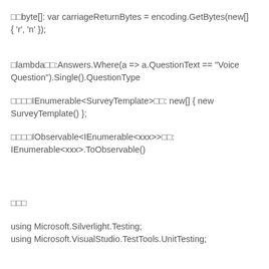□□byte[]: var carriageReturnBytes = encoding.GetBytes(new[] { 'r', 'n' });
□lambda□□:Answers.Where(a => a.QuestionText == "Voice Question").Single().QuestionType
□□□□IEnumerable<SurveyTemplate>□□: new[] { new SurveyTemplate() };
□□□□IObservable<IEnumerable<xxx>>□□: IEnumerable<xxx>.ToObservable()
□□□
using Microsoft.Silverlight.Testing;
using Microsoft.VisualStudio.TestTools.UnitTesting;